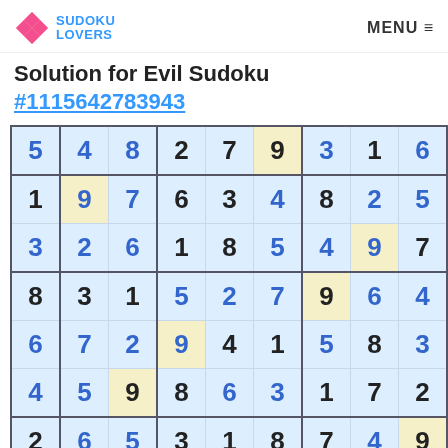SUDOKU LOVERS | MENU
Solution for Evil Sudoku
#1115642783943
| 5 | 4 | 8 | 2 | 7 | 9 | 3 | 1 | 6 |
| 1 | 9 | 7 | 6 | 3 | 4 | 8 | 2 | 5 |
| 3 | 2 | 6 | 1 | 8 | 5 | 4 | 9 | 7 |
| 8 | 3 | 1 | 5 | 2 | 7 | 9 | 6 | 4 |
| 6 | 7 | 2 | 9 | 4 | 1 | 5 | 8 | 3 |
| 4 | 5 | 9 | 8 | 6 | 3 | 1 | 7 | 2 |
| 2 | 6 | 5 | 3 | 1 | 8 | 7 | 4 | 9 |